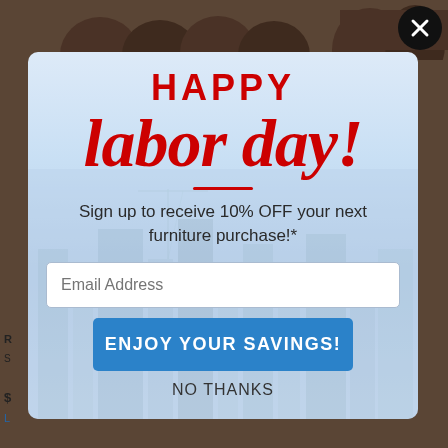[Figure (screenshot): Furniture store website background showing brown upholstered sofas/recliners]
HAPPY labor day!
Sign up to receive 10% OFF your next furniture purchase!*
Email Address
ENJOY YOUR SAVINGS!
NO THANKS